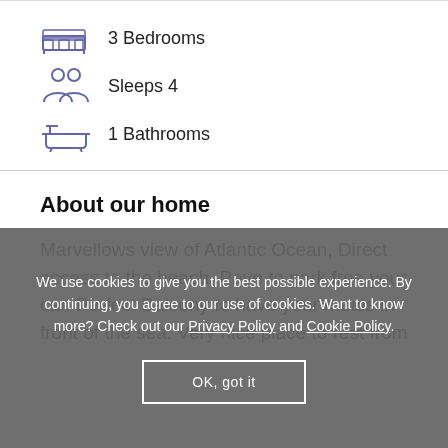3 Bedrooms
Sleeps 4
1 Bathrooms
About our home
Marvellows view of Atlantic Ocean, Direct access to the beach. Pave to park free your car. Perfect Balcony to have your meals in front of the sea. Very nice place to rest from
We use cookies to give you the best possible experience. By continuing, you agree to our use of cookies. Want to know more? Check out our Privacy Policy and Cookie Policy
OK, got it